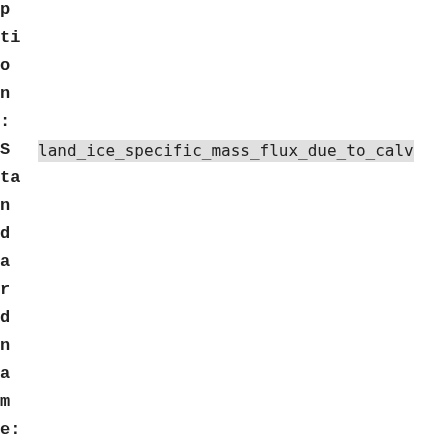p
ti
o
n
:
S   land_ice_specific_mass_flux_due_to_calv
ta
n
d
a
r
d
n
a
m
e:
C   positive flux corresponds to ice gain
o
m